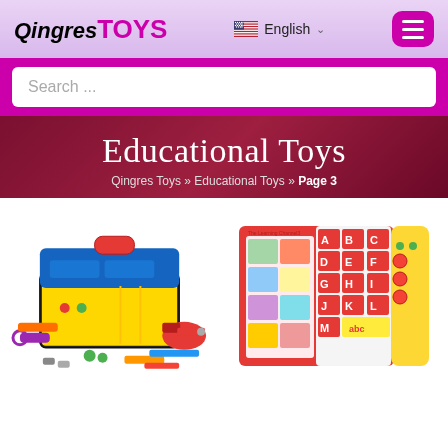QingresTOYS | English | Menu
Search ...
Educational Toys
Qingres Toys » Educational Toys » Page 3
[Figure (photo): Colorful toy toolbox set with drill, tools, and accessories on white background]
[Figure (photo): Red educational alphabet book toy with letter buttons and pictures]